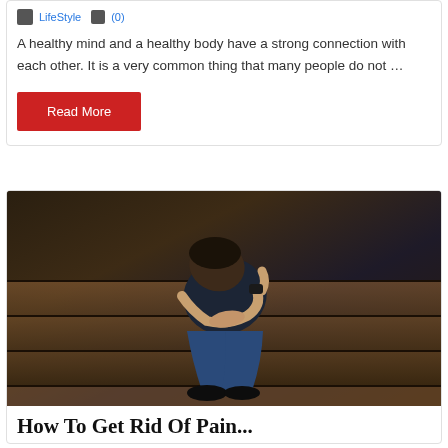LifeStyle (0)
A healthy mind and a healthy body have a strong connection with each other. It is a very common thing that many people do not ...
Read More
[Figure (photo): A man sitting hunched over with his head down on his knees on wooden floor steps, appearing distressed or in pain]
How To Get Rid Of Pain...